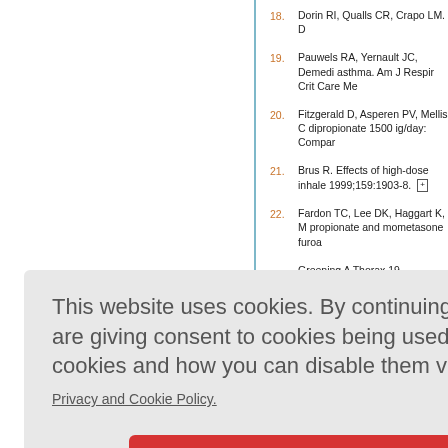18. Dorin RI, Qualls CR, Crapo LM. D
19. Pauwels RA, Yernault JC, Demedi asthma. Am J Respir Crit Care Me
20. Fitzgerald D, Asperen PV, Mellis C dipropionate 1500 ig/day: Compar
21. Brus R. Effects of high-dose inhale 1999;159:1903-8. [crossref]
22. Fardon TC, Lee DK, Haggart K, M propionate and mometasone furoa
Greening A Thorax 19
ner F. Valu 6:221-6. [crossref]
J, Cates C Database
This website uses cookies. By continuing to use this website you are giving consent to cookies being used. For information on cookies and how you can disable them visit our
Privacy and Cookie Policy.